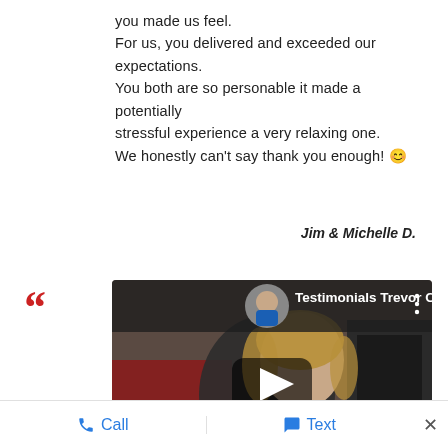you made us feel.
For us, you delivered and exceeded our expectations.
You both are so personable it made a potentially stressful experience a very relaxing one.
We honestly can't say thank you enough! 😊
Jim & Michelle D.
[Figure (screenshot): YouTube video thumbnail showing a woman in a black shirt with video title 'Testimonials Trevor Comeau' and a play button overlay. A small circular profile photo of a man is shown in the top left of the video player.]
📞 Call   💬 Text   ×